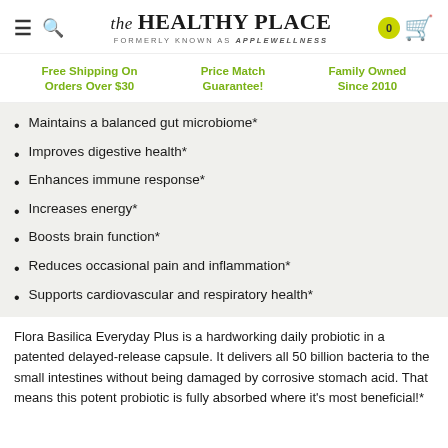the HEALTHY PLACE — FORMERLY KNOWN AS applewellness
Free Shipping On Orders Over $30 | Price Match Guarantee! | Family Owned Since 2010
Maintains a balanced gut microbiome*
Improves digestive health*
Enhances immune response*
Increases energy*
Boosts brain function*
Reduces occasional pain and inflammation*
Supports cardiovascular and respiratory health*
Flora Basilica Everyday Plus is a hardworking daily probiotic in a patented delayed-release capsule. It delivers all 50 billion bacteria to the small intestines without being damaged by corrosive stomach acid. That means this potent probiotic is fully absorbed where it's most beneficial!*